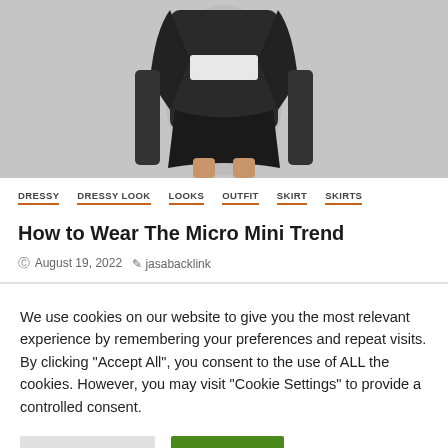[Figure (photo): Fashion photo of a person wearing a black jacket, white top, and black micro mini skirt, shown from torso down against a grey wall background]
DRESSY  DRESSY LOOK  LOOKS  OUTFIT  SKIRT  SKIRTS
How to Wear The Micro Mini Trend
August 19, 2022  jasabacklink
We use cookies on our website to give you the most relevant experience by remembering your preferences and repeat visits. By clicking "Accept All", you consent to the use of ALL the cookies. However, you may visit "Cookie Settings" to provide a controlled consent.
Cookie Settings  Accept All